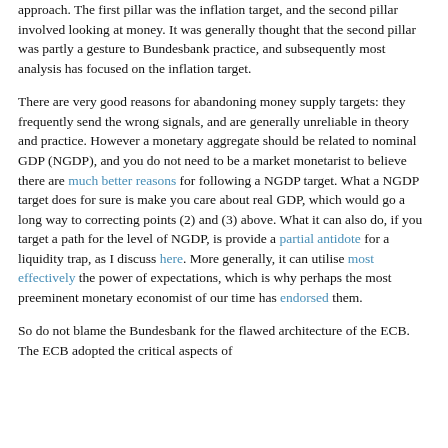approach. The first pillar was the inflation target, and the second pillar involved looking at money. It was generally thought that the second pillar was partly a gesture to Bundesbank practice, and subsequently most analysis has focused on the inflation target.
There are very good reasons for abandoning money supply targets: they frequently send the wrong signals, and are generally unreliable in theory and practice. However a monetary aggregate should be related to nominal GDP (NGDP), and you do not need to be a market monetarist to believe there are much better reasons for following a NGDP target. What a NGDP target does for sure is make you care about real GDP, which would go a long way to correcting points (2) and (3) above. What it can also do, if you target a path for the level of NGDP, is provide a partial antidote for a liquidity trap, as I discuss here. More generally, it can utilise most effectively the power of expectations, which is why perhaps the most preeminent monetary economist of our time has endorsed them.
So do not blame the Bundesbank for the flawed architecture of the ECB. The ECB adopted the critical aspects of...